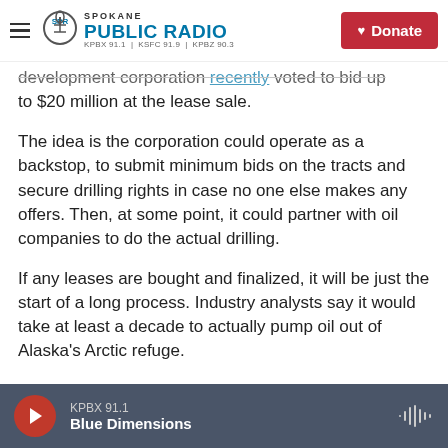Spokane Public Radio — KPBX 91.1 | KSFC 91.9 | KPBZ 90.3 | Donate
development corporation recently voted to bid up to $20 million at the lease sale.
The idea is the corporation could operate as a backstop, to submit minimum bids on the tracts and secure drilling rights in case no one else makes any offers. Then, at some point, it could partner with oil companies to do the actual drilling.
If any leases are bought and finalized, it will be just the start of a long process. Industry analysts say it would take at least a decade to actually pump oil out of Alaska's Arctic refuge.
KPBX 91.1 — Blue Dimensions